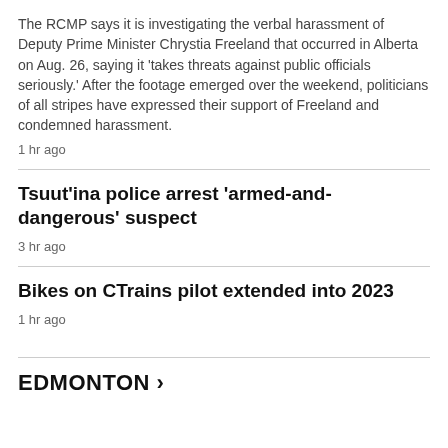The RCMP says it is investigating the verbal harassment of Deputy Prime Minister Chrystia Freeland that occurred in Alberta on Aug. 26, saying it 'takes threats against public officials seriously.' After the footage emerged over the weekend, politicians of all stripes have expressed their support of Freeland and condemned harassment.
1 hr ago
Tsuut'ina police arrest 'armed-and-dangerous' suspect
3 hr ago
Bikes on CTrains pilot extended into 2023
1 hr ago
EDMONTON >